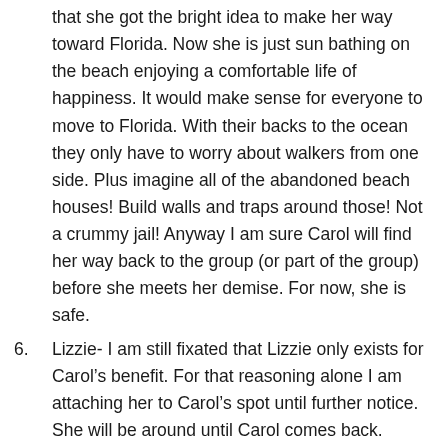that she got the bright idea to make her way toward Florida. Now she is just sun bathing on the beach enjoying a comfortable life of happiness. It would make sense for everyone to move to Florida. With their backs to the ocean they only have to worry about walkers from one side. Plus imagine all of the abandoned beach houses! Build walls and traps around those! Not a crummy jail! Anyway I am sure Carol will find her way back to the group (or part of the group) before she meets her demise. For now, she is safe.
6. Lizzie- I am still fixated that Lizzie only exists for Carol’s benefit. For that reasoning alone I am attaching her to Carol’s spot until further notice. She will be around until Carol comes back. When that happens I am sure Lizzie will plummet to the bottom of the list.
7. Glenn- Glenn seems to be in bad shape. But it would